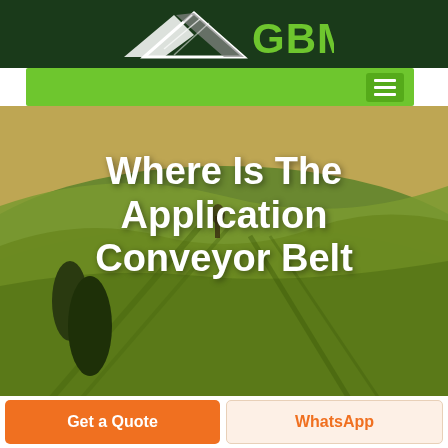GBM logo header with dark green background
[Figure (screenshot): GBM company logo: white geometric arrow/mountain shape on left, green bold text 'GBM' on right, on dark green background]
[Figure (photo): Aerial view of agricultural fields with rolling hills, warm golden-green tones, trees in foreground, person or structure visible in distance]
Where Is The Application Conveyor Belt
Get a Quote
WhatsApp